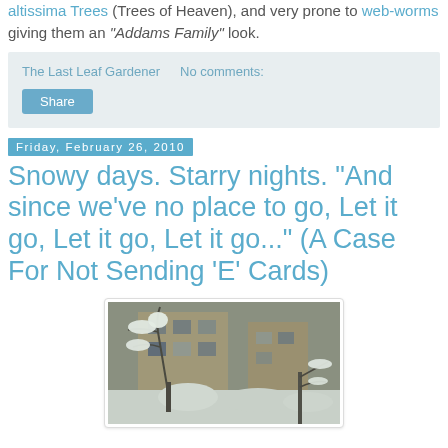altissima Trees (Trees of Heaven), and very prone to web-worms giving them an "Addams Family" look.
The Last Leaf Gardener    No comments:
Share
Friday, February 26, 2010
Snowy days. Starry nights. "And since we've no place to go, Let it go, Let it go, Let it go..." (A Case For Not Sending 'E' Cards)
[Figure (photo): Snow-covered urban courtyard scene with heavily snow-laden tree branches in foreground and apartment building in background]